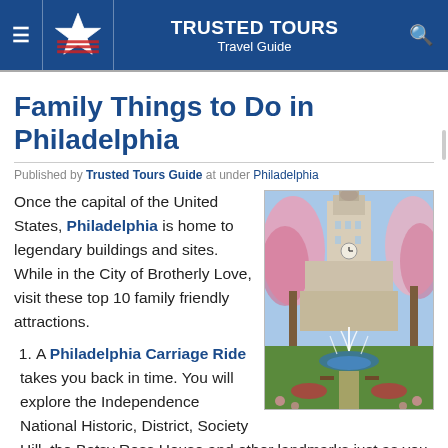TRUSTED TOURS Travel Guide
Family Things to Do in Philadelphia
Published by Trusted Tours Guide at under Philadelphia
Once the capital of the United States, Philadelphia is home to legendary buildings and sites. While in the City of Brotherly Love, visit these top 10 family friendly attractions.
[Figure (photo): Photo of Philadelphia city hall with fountains and cherry blossom trees in the foreground]
A Philadelphia Carriage Ride takes you back in time. You will explore the Independence National Historic, District, Society Hill, the Betsy Ross House and other landmarks just as you would have during colonial times. The knowledgeable guide provides interesting stories about the people and events that shaped Philadelphia.